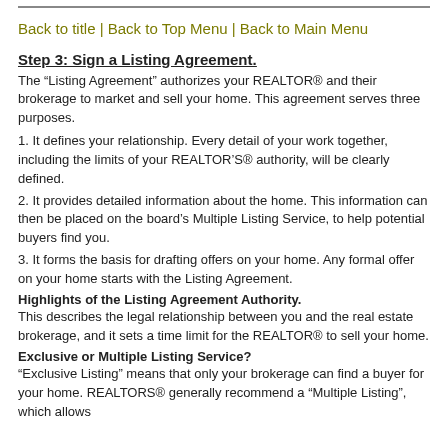Back to title | Back to Top Menu | Back to Main Menu
Step 3: Sign a Listing Agreement.
The “Listing Agreement” authorizes your REALTOR® and their brokerage to market and sell your home. This agreement serves three purposes.
1. It defines your relationship. Every detail of your work together, including the limits of your REALTOR’S® authority, will be clearly defined.
2. It provides detailed information about the home. This information can then be placed on the board’s Multiple Listing Service, to help potential buyers find you.
3. It forms the basis for drafting offers on your home. Any formal offer on your home starts with the Listing Agreement.
Highlights of the Listing Agreement Authority.
This describes the legal relationship between you and the real estate brokerage, and it sets a time limit for the REALTOR® to sell your home.
Exclusive or Multiple Listing Service?
“Exclusive Listing” means that only your brokerage can find a buyer for your home. REALTORS® generally recommend a “Multiple Listing”, which allows